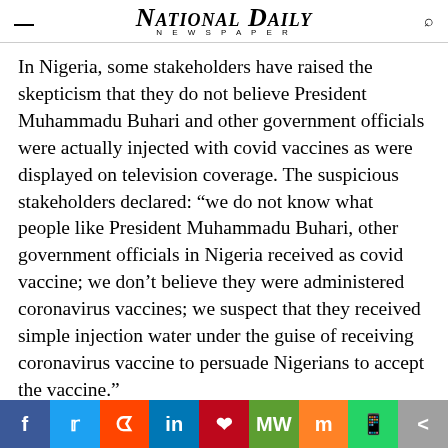National Daily NEWSPAPER
In Nigeria, some stakeholders have raised the skepticism that they do not believe President Muhammadu Buhari and other government officials were actually injected with covid vaccines as were displayed on television coverage. The suspicious stakeholders declared: “we do not know what people like President Muhammadu Buhari, other government officials in Nigeria received as covid vaccine; we don’t believe they were administered coronavirus vaccines; we suspect that they received simple injection water under the guise of receiving coronavirus vaccine to persuade Nigerians to accept the vaccine.”
Other experts had argued that COVID is a very weak virus and does not have the capacity to kill people en masse.